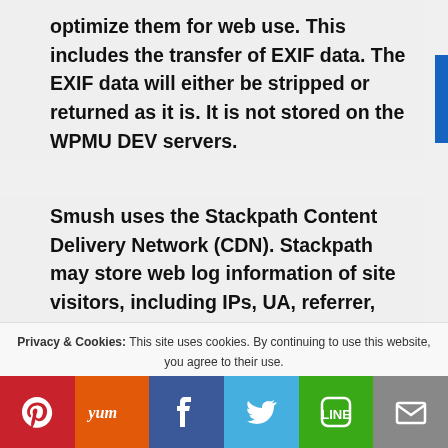optimize them for web use. This includes the transfer of EXIF data. The EXIF data will either be stripped or returned as it is. It is not stored on the WPMU DEV servers.
Smush uses the Stackpath Content Delivery Network (CDN). Stackpath may store web log information of site visitors, including IPs, UA, referrer, Location and ISP info of site visitors for 7 days. Files and images served by the CDN may be
Privacy & Cookies: This site uses cookies. By continuing to use this website, you agree to their use.
To find out more, including how to control cookies, see here: Cookie Policy
[Figure (infographic): Social sharing bar with icons for Pinterest (red), Yummly (orange), Facebook (dark blue), Twitter (light blue), Line (green), Email (grey)]